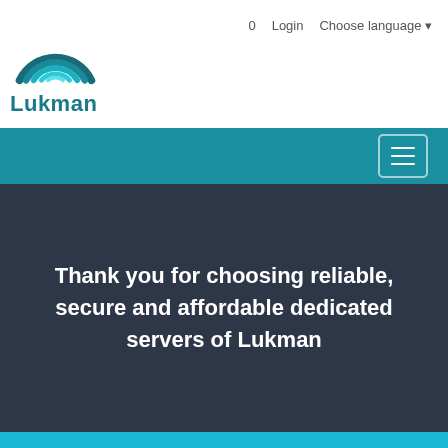[Figure (logo): Lukman logo: teal rainbow arc above the text 'Lukman' in teal bold font]
0   Login   Choose language ▾
[Figure (other): Teal navigation bar with hamburger menu button on the right]
Thank you for choosing reliable, secure and affordable dedicated servers of Lukman